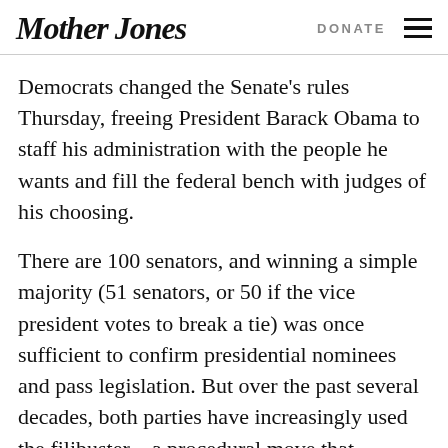Mother Jones | DONATE
Democrats changed the Senate's rules Thursday, freeing President Barack Obama to staff his administration with the people he wants and fill the federal bench with judges of his choosing.
There are 100 senators, and winning a simple majority (51 senators, or 50 if the vice president votes to break a tie) was once sufficient to confirm presidential nominees and pass legislation. But over the past several decades, both parties have increasingly used the filibuster—a procedural move that requires 60 senators to end debate and force a vote—to block the other side's agenda. Since 2009, when Obama took office, Senate Republicans have